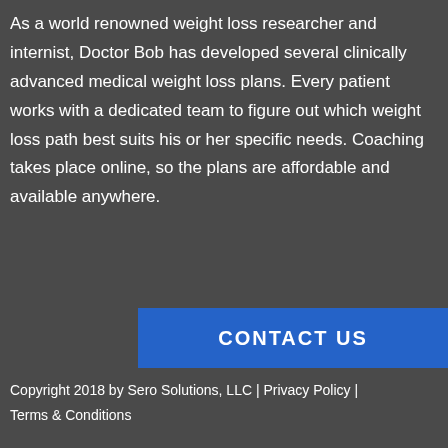As a world renowned weight loss researcher and internist, Doctor Bob has developed several clinically advanced medical weight loss plans. Every patient works with a dedicated team to figure out which weight loss path best suits his or her specific needs. Coaching takes place online, so the plans are affordable and available anywhere.
CONTACT US
Copyright 2018 by Sero Solutions, LLC | Privacy Policy | Terms & Conditions